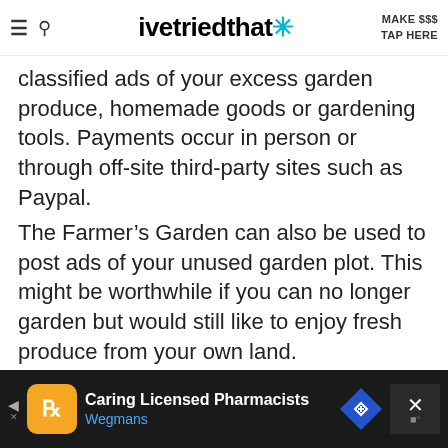ivetriedthat* | MAKE $$$ TAP HERE
classified ads of your excess garden produce, homemade goods or gardening tools. Payments occur in person or through off-site third-party sites such as Paypal.
The Farmer’s Garden can also be used to post ads of your unused garden plot. This might be worthwhile if you can no longer garden but would still like to enjoy fresh produce from your own land.
[Figure (screenshot): Screenshot of The Farmer's Garden website showing logo with tagline 'Growing Community, One Tomato at a Time' and navigation pills: Home, Register, About, Community, Blog, Log In]
[Figure (screenshot): Advertisement banner for Wegmans 'Caring Licensed Pharmacists' with orange pharmacy icon, blue diamond arrow icon, and close button]